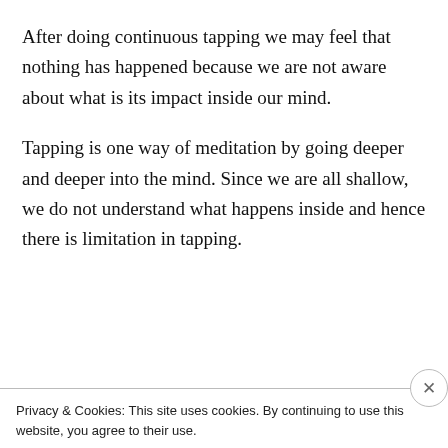After doing continuous tapping we may feel that nothing has happened because we are not aware about what is its impact inside our mind.
Tapping is one way of meditation by going deeper and deeper into the mind. Since we are all shallow, we do not understand what happens inside and hence there is limitation in tapping.
[Figure (other): A blue 'Apply' button and a circular avatar photo of a man with glasses touching his chin/beard, thinking pose, on a light gray background.]
Privacy & Cookies: This site uses cookies. By continuing to use this website, you agree to their use. To find out more, including how to control cookies, see here: Cookie Policy
Close and accept